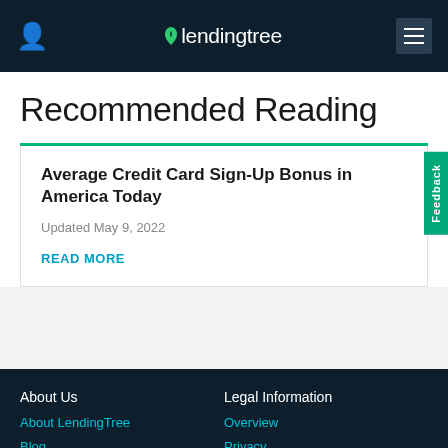lendingtree
Recommended Reading
Average Credit Card Sign-Up Bonus in America Today
Updated May 9, 2022
READ MORE
About Us
Legal Information
About LendingTree
Blog
Careers
Overview
Privacy
Online Tracking